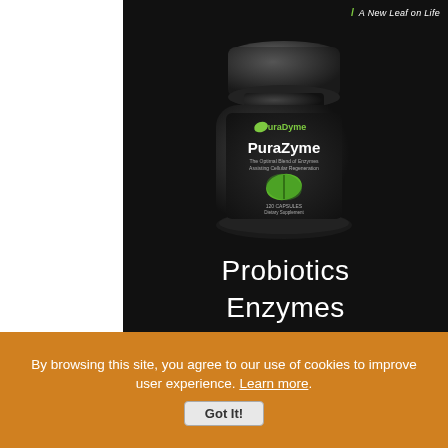[Figure (photo): PuraDyme supplement bottle (PuraZyme) on a black background with a green leaf design. Label shows PuraDyme logo, PuraZyme product name, and text about enzymes and cellular regeneration.]
A New Leaf on Life
Probiotics
Enzymes
Amino Acids
Colon Cleansers
By browsing this site, you agree to our use of cookies to improve user experience. Learn more.
Got It!